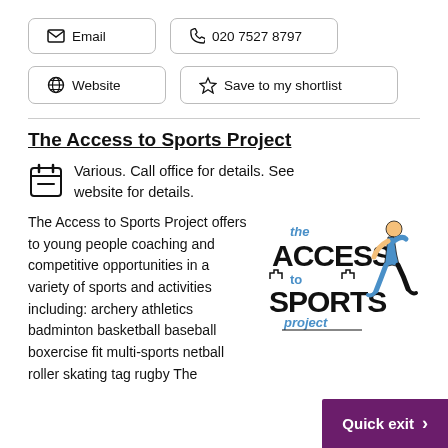✉ Email
📞 020 7527 8797
🔗 Website
☆ Save to my shortlist
The Access to Sports Project
Various. Call office for details. See website for details.
The Access to Sports Project offers to young people coaching and competitive opportunities in a variety of sports and activities including: archery athletics badminton basketball baseball boxercise fit multi-sports netball roller skating tag rugby The
[Figure (logo): The Access to Sports Project logo: bold text with a running athlete figure in blue.]
Quick exit >